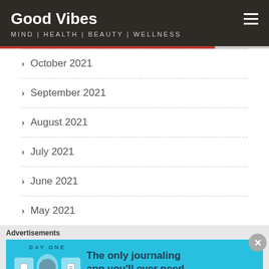Good Vibes
MIND | HEALTH | BEAUTY | WELLNESS
October 2021
September 2021
August 2021
July 2021
June 2021
May 2021
[Figure (screenshot): Advertisement banner for Day One journaling app with text 'The only journaling app you'll ever need.']